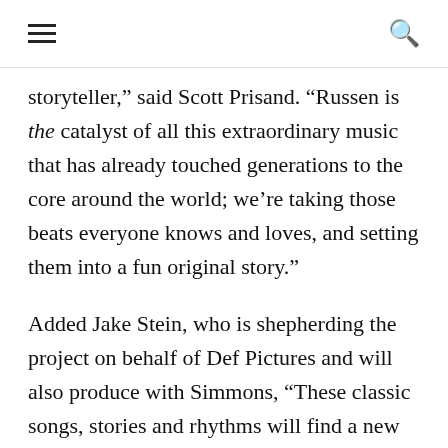[hamburger menu] [search icon]
storyteller," said Scott Prisand. "Russen is the catalyst of all this extraordinary music that has already touched generations to the core around the world; we're taking those beats everyone knows and loves, and setting them into a fun original story."
Added Jake Stein, who is shepherding the project on behalf of Def Pictures and will also produce with Simmons, "These classic songs, stories and rhythms will find a new audience on the theater stage.  We believe this show will be an entirely new entry point for appreciating